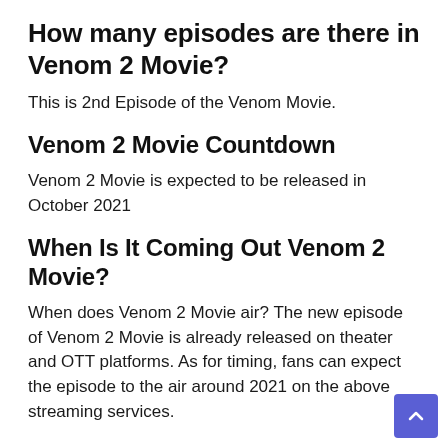How many episodes are there in Venom 2 Movie?
This is 2nd Episode of the Venom Movie.
Venom 2 Movie Countdown
Venom 2 Movie is expected to be released in October 2021
When Is It Coming Out Venom 2 Movie?
When does Venom 2 Movie air? The new episode of Venom 2 Movie is already released on theater and OTT platforms. As for timing, fans can expect the episode to the air around 2021 on the above streaming services.